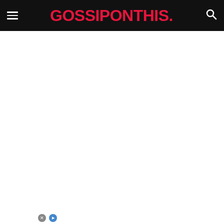GOSSIPONTHIS.
[Figure (screenshot): White blank content area below navigation header]
[Figure (infographic): Advertisement banner for Cariloha: LABOR DAY SALE! CARILOHA 35% OFF SITEWIDE, with lifestyle images on left and right sides and X close button]